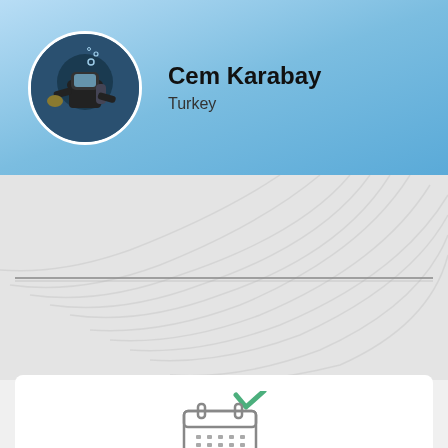[Figure (photo): Circular avatar photo of a scuba diver underwater holding something, dark background]
Cem Karabay
Turkey
[Figure (illustration): Decorative palm leaf pattern background with a horizontal divider line]
[Figure (illustration): Calendar icon with a green checkmark in the top right corner, outline style]
Secure Online Booking
Our site uses secure and encrypted